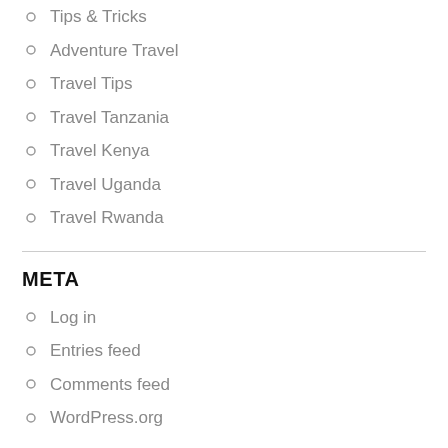Tips & Tricks
Adventure Travel
Travel Tips
Travel Tanzania
Travel Kenya
Travel Uganda
Travel Rwanda
META
Log in
Entries feed
Comments feed
WordPress.org